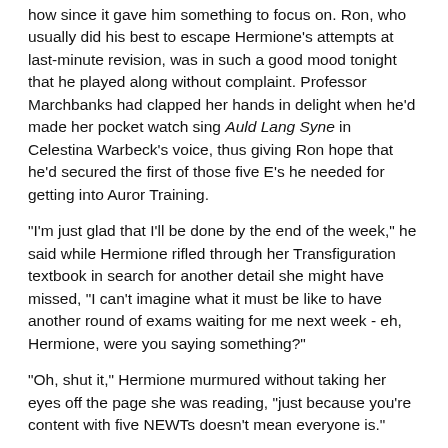how since it gave him something to focus on. Ron, who usually did his best to escape Hermione's attempts at last-minute revision, was in such a good mood tonight that he played along without complaint. Professor Marchbanks had clapped her hands in delight when he'd made her pocket watch sing Auld Lang Syne in Celestina Warbeck's voice, thus giving Ron hope that he'd secured the first of those five E's he needed for getting into Auror Training.
"I'm just glad that I'll be done by the end of the week," he said while Hermione rifled through her Transfiguration textbook in search for another detail she might have missed, "I can't imagine what it must be like to have another round of exams waiting for me next week - eh, Hermione, were you saying something?"
"Oh, shut it," Hermione murmured without taking her eyes off the page she was reading, "just because you're content with five NEWTs doesn't mean everyone is."